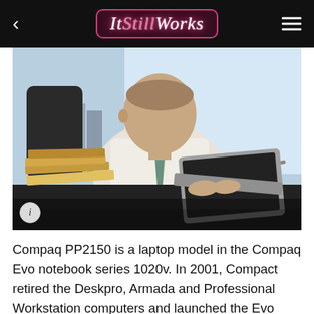ItStillWorks
[Figure (photo): A middle-aged businessman in a white dress shirt and teal tie sits at a dark office desk using a silver laptop. Stacks of folders and papers are piled to his left. City buildings are visible through a large window in the background.]
Compaq PP2150 is a laptop model in the Compaq Evo notebook series 1020v. In 2001, Compact retired the Deskpro, Armada and Professional Workstation computers and launched the Evo Notebook. The Evo, short for